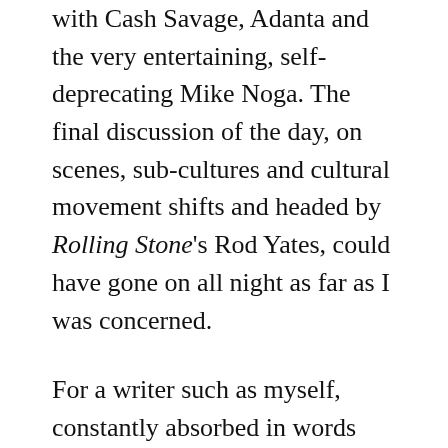with Cash Savage, Adanta and the very entertaining, self-deprecating Mike Noga. The final discussion of the day, on scenes, sub-cultures and cultural movement shifts and headed by Rolling Stone's Rod Yates, could have gone on all night as far as I was concerned.
For a writer such as myself, constantly absorbed in words and music, this was as close to perfect an inspirational environment as I could have found myself in, but anyone even remotely interested in writing and rock would have been just as enthralled. The independent nature of the festival meant the crowds were strong but not overwhelming, giving interested punters such as myself plenty of